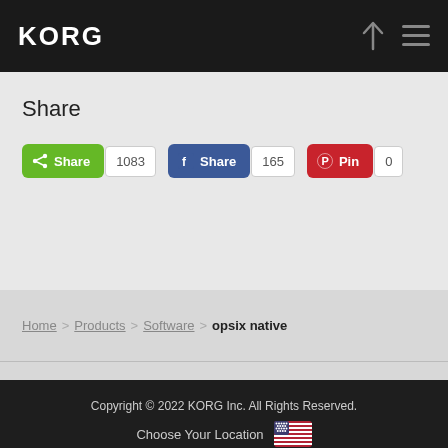KORG
Share
Share 1083 | Share 165 | Pin 0
Home > Products > Software > opsix native
Copyright © 2022 KORG Inc. All Rights Reserved. Choose Your Location